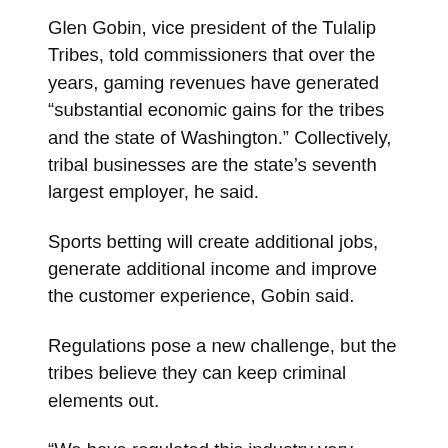Glen Gobin, vice president of the Tulalip Tribes, told commissioners that over the years, gaming revenues have generated “substantial economic gains for the tribes and the state of Washington.” Collectively, tribal businesses are the state’s seventh largest employer, he said.
Sports betting will create additional jobs, generate additional income and improve the customer experience, Gobin said.
Regulations pose a new challenge, but the tribes believe they can keep criminal elements out.
“We have regulated this industry very well,” Gobin told the Commissioners.
Some Commissioners expressed concern that the ease of placing bets outside of traditional gambling areas – such as